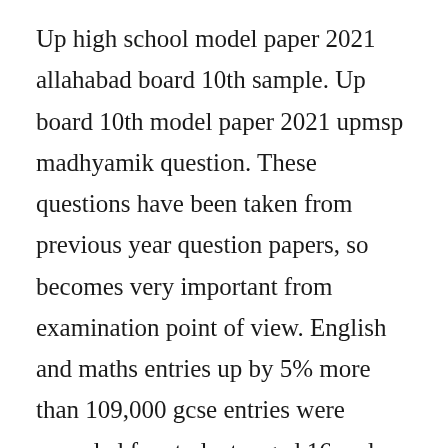Up high school model paper 2021 allahabad board 10th sample. Up board 10th model paper 2021 upmsp madhyamik question. These questions have been taken from previous year question papers, so becomes very important from examination point of view. English and maths entries up by 5% more than 109,000 gcse entries were recorded for students aged 16 and over in november, according to new ofqual figures kate parker 5 dec 2019. This exam is known as secondary school level examination. Apr 22, 2020 10 th public exam maths sciencesocial daily task